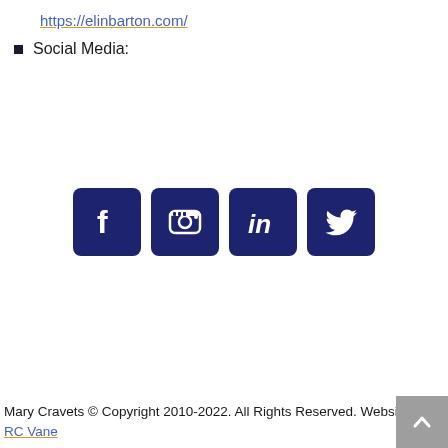https://elinbarton.com/
Social Media:
[Figure (illustration): Four social media icons in dark navy blue rounded square buttons: Facebook (f), Instagram (camera), LinkedIn (in), Twitter (bird)]
Mary Cravets © Copyright 2010-2022. All Rights Reserved. Website by RC Vane